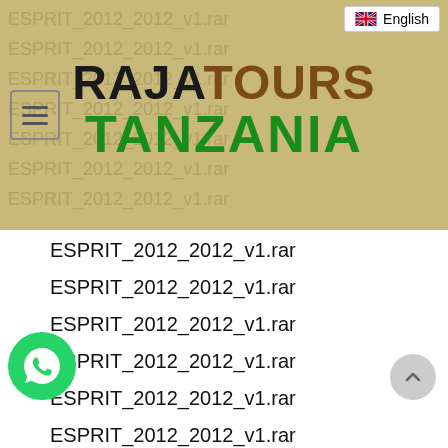RajaTours Tanzania — English
RajaTours Tanzania
ESPRIT_2012_2012_v1.rar
ESPRIT_2012_2012_v1.rar
ESPRIT_2012_2012_v1.rar
ESPRIT_2012_2012_v1.rar
ESPRIT_2012_2012_v1.rar
ESPRIT_2012_2012_v1.rar
ESPRIT_2012_2012_v1.rar
ESPRIT_2012_2012_v1.rar
IT_2012_2012_v1.rar
KIT_2012_2012_v1.rar
ESPRIT_2012_2012_v1.rar
ESPRIT_2012_2012_v1.rar